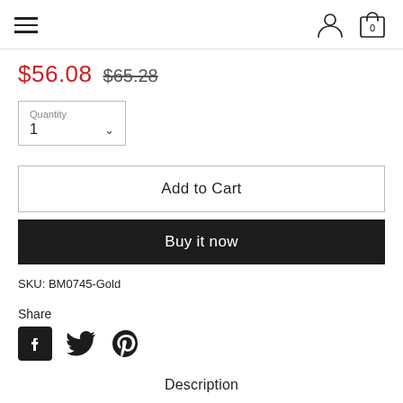≡ (hamburger menu) | (user icon) (cart icon, 0)
$56.08 $65.28
Quantity 1
Add to Cart
Buy it now
SKU: BM0745-Gold
Share
[Figure (other): Social share icons: Facebook, Twitter, Pinterest]
Description